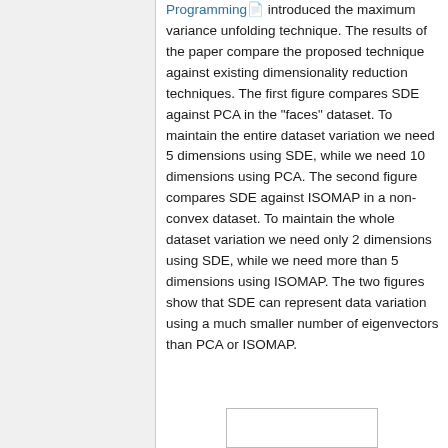Programming introduced the maximum variance unfolding technique. The results of the paper compare the proposed technique against existing dimensionality reduction techniques. The first figure compares SDE against PCA in the "faces" dataset. To maintain the entire dataset variation we need 5 dimensions using SDE, while we need 10 dimensions using PCA. The second figure compares SDE against ISOMAP in a non-convex dataset. To maintain the whole dataset variation we need only 2 dimensions using SDE, while we need more than 5 dimensions using ISOMAP. The two figures show that SDE can represent data variation using a much smaller number of eigenvectors than PCA or ISOMAP.
[Figure (other): Partial image/figure visible at bottom of page]